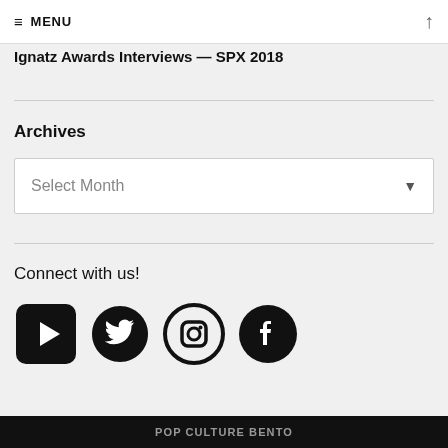≡ MENU
Ignatz Awards Interviews — SPX 2018
Archives
Select Month
Connect with us!
[Figure (other): Social media icons: YouTube, Twitter, Instagram, Facebook]
POP CULTURE BENTO